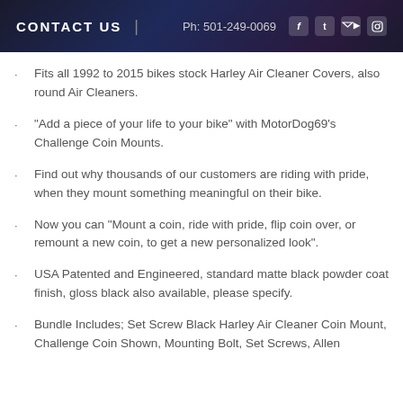CONTACT US | Ph: 501-249-0069
Fits all 1992 to 2015 bikes stock Harley Air Cleaner Covers, also round Air Cleaners.
“Add a piece of your life to your bike” with MotorDog69’s Challenge Coin Mounts.
Find out why thousands of our customers are riding with pride, when they mount something meaningful on their bike.
Now you can “Mount a coin, ride with pride, flip coin over, or remount a new coin, to get a new personalized look”.
USA Patented and Engineered, standard matte black powder coat finish, gloss black also available, please specify.
Bundle Includes; Set Screw Black Harley Air Cleaner Coin Mount, Challenge Coin Shown, Mounting Bolt, Set Screws, Allen